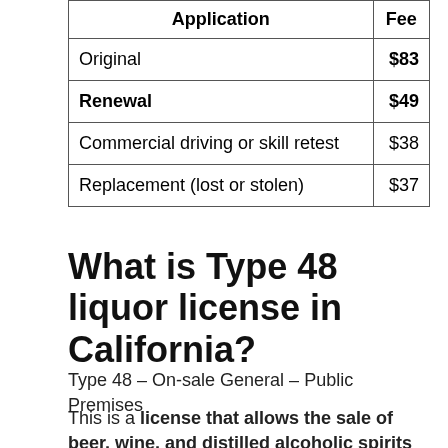| Application | Fee |
| --- | --- |
| Original | $83 |
| Renewal | $49 |
| Commercial driving or skill retest | $38 |
| Replacement (lost or stolen) | $37 |
What is Type 48 liquor license in California?
Type 48 – On-sale General – Public Premises
This is a license that allows the sale of beer, wine, and distilled alcoholic spirits in a bar, night club, or similar venue for consumption on or off the property.